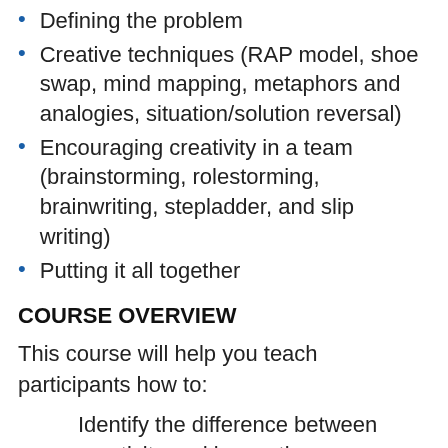Defining the problem
Creative techniques (RAP model, shoe swap, mind mapping, metaphors and analogies, situation/solution reversal)
Encouraging creativity in a team (brainstorming, rolestorming, brainwriting, stepladder, and slip writing)
Putting it all together
COURSE OVERVIEW
This course will help you teach participants how to:
Identify the difference between creativity and innovation
Recognise their own creativity